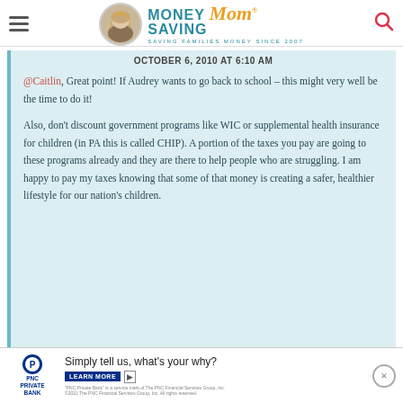Money Saving Mom — SAVING FAMILIES MONEY SINCE 2007
OCTOBER 6, 2010 AT 6:10 AM
@Caitlin, Great point! If Audrey wants to go back to school – this might very well be the time to do it!

Also, don't discount government programs like WIC or supplemental health insurance for children (in PA this is called CHIP). A portion of the taxes you pay are going to these programs already and they are there to help people who are struggling. I am happy to pay my taxes knowing that some of that money is creating a safer, healthier lifestyle for our nation's children.
[Figure (screenshot): PNC Private Bank advertisement: 'Simply tell us, what's your why?' with Learn More button]